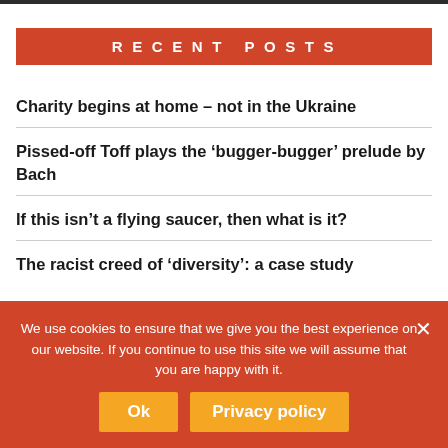RECENT POSTS
Charity begins at home – not in the Ukraine
Pissed-off Toff plays the 'bugger-bugger' prelude by Bach
If this isn't a flying saucer, then what is it?
The racist creed of 'diversity': a case study
We use cookies to ensure that we give you the best experience on our website. If you continue to use this site we will assume that you are happy with it.